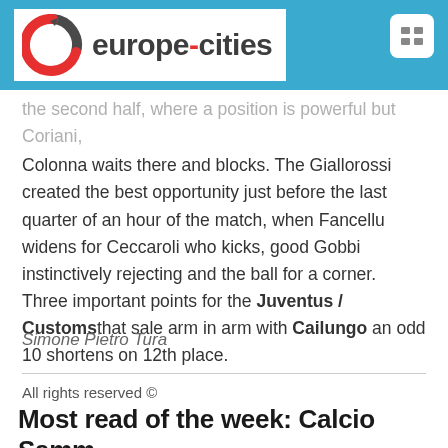europe-cities
the second half, where a position is powerful but Coriani, Colonna waits there and blocks. The Giallorossi created the best opportunity just before the last quarter of an hour of the match, when Fancellu widens for Ceccaroli who kicks, good Gobbi instinctively rejecting and the ball for a corner. Three important points for the Juventus / Customs that sale arm in arm with Cailungo an odd 10 shortens on 12th place.
Simone Pietro Tura
All rights reserved ©
Most read of the week: Calcio Samm.